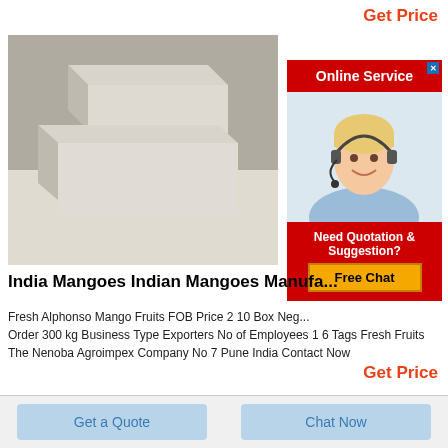Get Price
[Figure (photo): Two plain cardboard/white boxes stacked on a light wooden surface]
[Figure (infographic): Online Service banner with a female customer service agent wearing a headset, and a Need Quotation & Suggestion? Free Chat prompt]
India Mangoes Indian Mangoes Manufa...
Fresh Alphonso Mango Fruits FOB Price 2 10 Box Neg... Order 300 kg Business Type Exporters No of Employees 1 6 Tags Fresh Fruits The Nenoba Agroimpex Company No 7 Pune India Contact Now
Get Price
Get a Quote
Chat Now